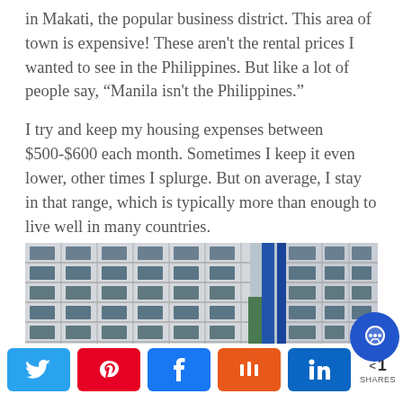in Makati, the popular business district. This area of town is expensive! These aren't the rental prices I wanted to see in the Philippines. But like a lot of people say, “Manila isn't the Philippines.”

I try and keep my housing expenses between $500-$600 each month. Sometimes I keep it even lower, other times I splurge. But on average, I stay in that range, which is typically more than enough to live well in many countries.
[Figure (photo): Exterior view of white and grey apartment/condominium buildings with a blue vertical stripe accent on the right building. Multiple floors with rows of windows and balconies visible.]